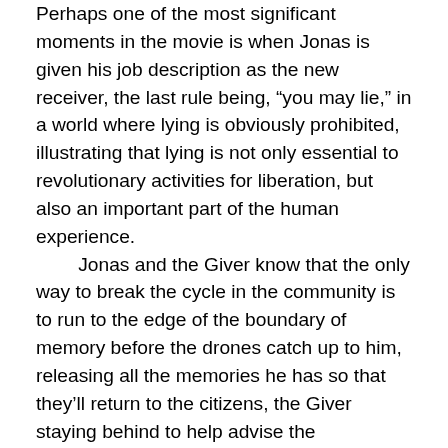Perhaps one of the most significant moments in the movie is when Jonas is given his job description as the new receiver, the last rule being, “you may lie,” in a world where lying is obviously prohibited, illustrating that lying is not only essential to revolutionary activities for liberation, but also an important part of the human experience.

Jonas and the Giver know that the only way to break the cycle in the community is to run to the edge of the boundary of memory before the drones catch up to him, releasing all the memories he has so that they’ll return to the citizens, the Giver staying behind to help advise the community on what to do with this new outpouring of information.

Anarchists know that there’s no freedom without equality, and there’s no equality without freedom. The human need for self-determination is absolutely essential to what we believe about what is good for ourselves and for society. The Giver makes you look at the world three-